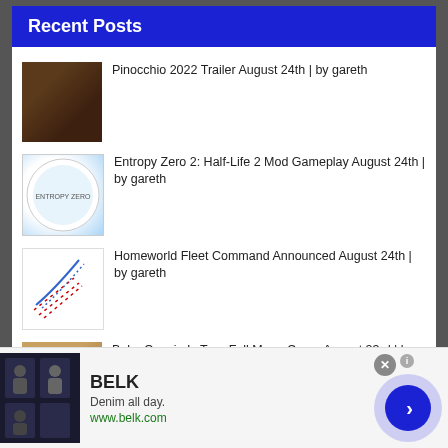Recent Posts
Pinocchio 2022 Trailer August 24th | by gareth
Entropy Zero 2: Half-Life 2 Mod Gameplay August 24th | by gareth
Homeworld Fleet Command Announced August 24th | by gareth
Baby Oopsie Is True Full Moon Camp August 23rd | by Neil Jordan
[Figure (screenshot): Advertisement banner for BELK showing denim clothing with text 'Denim all day. www.belk.com']